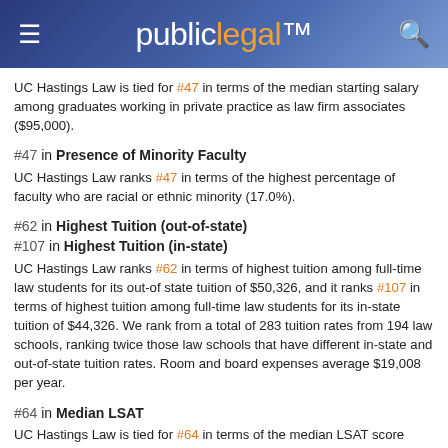publiclegal
UC Hastings Law is tied for #47 in terms of the median starting salary among graduates working in private practice as law firm associates ($95,000).
#47 in Presence of Minority Faculty
UC Hastings Law ranks #47 in terms of the highest percentage of faculty who are racial or ethnic minority (17.0%).
#62 in Highest Tuition (out-of-state)
#107 in Highest Tuition (in-state)
UC Hastings Law ranks #62 in terms of highest tuition among full-time law students for its out-of state tuition of $50,326, and it ranks #107 in terms of highest tuition among full-time law students for its in-state tuition of $44,326. We rank from a total of 283 tuition rates from 194 law schools, ranking twice those law schools that have different in-state and out-of-state tuition rates. Room and board expenses average $19,008 per year.
#64 in Median LSAT
UC Hastings Law is tied for #64 in terms of the median LSAT score (158) among those applicants granted admission who enrolled as full-time students. The LSAT measures reading comprehension, analytical reasoning, and logical reasoning.
#79 in Presence of Female Faculty
UC Hastings Law is tied for #79 in terms of the highest percentage of